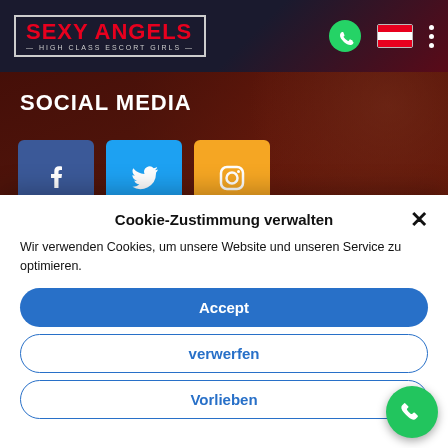[Figure (screenshot): Website top navigation bar with 'SEXY ANGELS - HIGH CLASS ESCORT GIRLS' logo on left, WhatsApp icon, Austrian flag icon, and vertical dots menu on right. Dark navy/red gradient background.]
SOCIAL MEDIA
[Figure (screenshot): Social media icons row: Facebook (dark blue), Twitter (light blue), Instagram (orange), each as square buttons with white icons.]
Cookie-Zustimmung verwalten
Wir verwenden Cookies, um unsere Website und unseren Service zu optimieren.
Accept
verwerfen
Vorlieben